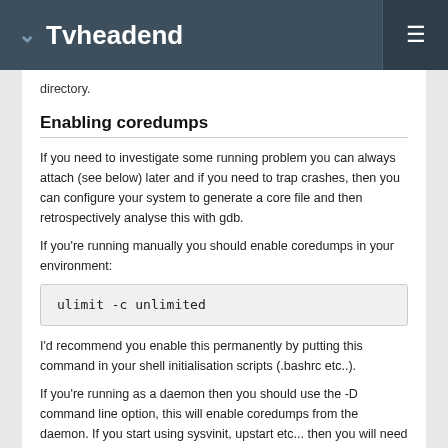Tvheadend
directory.
Enabling coredumps
If you need to investigate some running problem you can always attach (see below) later and if you need to trap crashes, then you can configure your system to generate a core file and then retrospectively analyse this with gdb.
If you're running manually you should enable coredumps in your environment:
ulimit -c unlimited
I'd recommend you enable this permanently by putting this command in your shell initialisation scripts (.bashrc etc..).
If you're running as a daemon then you should use the -D command line option, this will enable coredumps from the daemon. If you start using sysvinit, upstart etc... then you will need to put this in the configuration file, e.g.: